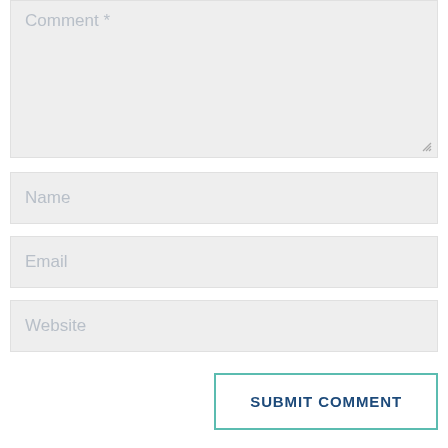[Figure (screenshot): Comment textarea input field with placeholder text 'Comment *' and resize handle in bottom-right corner]
[Figure (screenshot): Name text input field with placeholder text 'Name']
[Figure (screenshot): Email text input field with placeholder text 'Email']
[Figure (screenshot): Website text input field with placeholder text 'Website']
SUBMIT COMMENT